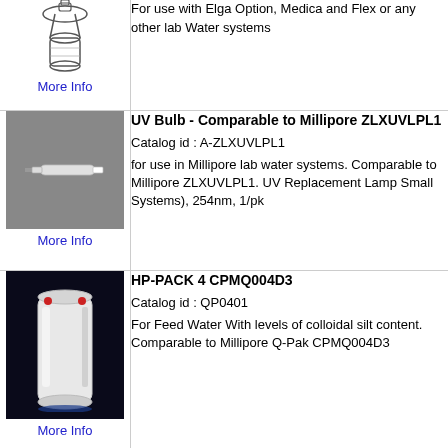[Figure (photo): Water dispenser / filter device illustration (partial, top row)]
More Info
For use with Elga Option, Medica and Flex or any other lab Water systems
[Figure (photo): UV bulb photo on grey background]
More Info
UV Bulb - Comparable to Millipore ZLXUVLPL1

Catalog id : A-ZLXUVLPL1

for use in Millipore lab water systems. Comparable to Millipore ZLXUVLPL1. UV Replacement Lamp Small Systems), 254nm, 1/pk
[Figure (photo): HP-PACK 4 filter cartridge photo on dark background]
More Info
HP-PACK 4 CPMQ004D3

Catalog id : QP0401

For Feed Water With levels of colloidal silt content. Comparable to Millipore Q-Pak CPMQ004D3